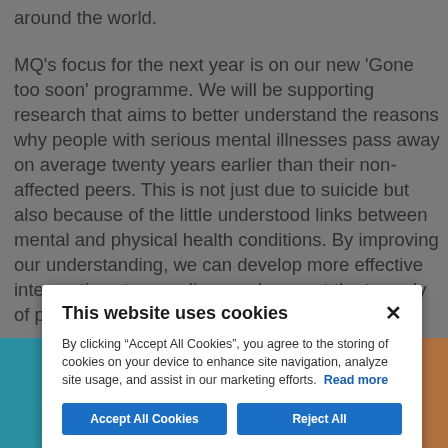around the world.
MQ's focus for the next year is on our new ‘Gone too soon’ programme. We will be supporting research that aims to better understand the reasons why people with serious mental illnesses pass away on average twenty years earlier than their non-affected peers. This is not just due to suicide but also because of the little understood links between mental and physical health conditions. By improving our understanding, we can develop more effective interventions to save lives and prevent the tragedy of people being gone too soon.
[Figure (photo): Bottom image strip showing teal/blue color on left and brown/orange on right, partially visible.]
This website uses cookies
By clicking “Accept All Cookies”, you agree to the storing of cookies on your device to enhance site navigation, analyze site usage, and assist in our marketing efforts. Read more